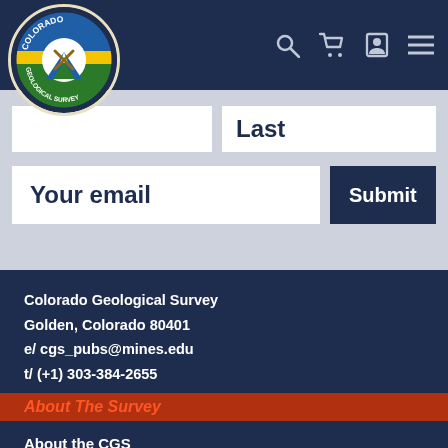[Figure (logo): Colorado Geological Survey circular logo with mountain and mining imagery]
Last
Your email
Submit
Colorado Geological Survey
Golden, Colorado 80401
e/ cgs_pubs@mines.edu
t/ (+1) 303-384-2655
About The Survey
About the CGS
Staff